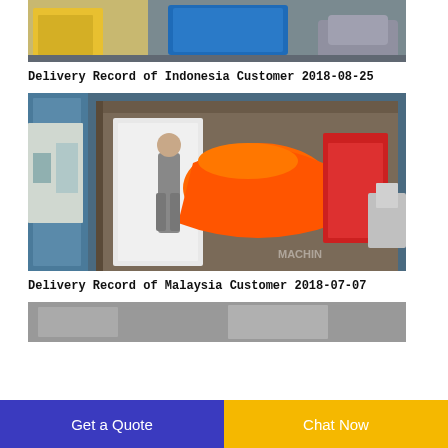[Figure (photo): Warehouse interior showing blue plastic-wrapped machinery and yellow equipment ready for shipping, Indonesia delivery 2018-08-25]
Delivery Record of Indonesia Customer 2018-08-25
[Figure (photo): Shipping container being loaded with white and orange machinery, a young person standing inside the container, Malaysia delivery 2018-07-07]
Delivery Record of Malaysia Customer 2018-07-07
[Figure (photo): Partial view of another delivery photo at bottom of page]
Get a Quote
Chat Now